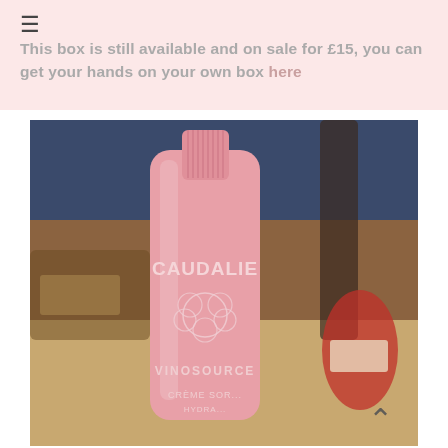This box is still available and on sale for £15, you can get your hands on your own box here
[Figure (photo): A pink tube of Caudalie Vinosource Crème Sorbé hydrating cream, with a ribbed pink cap, sitting in the foreground. In the blurred background are a red nail polish bottle and other beauty items on a wooden surface.]